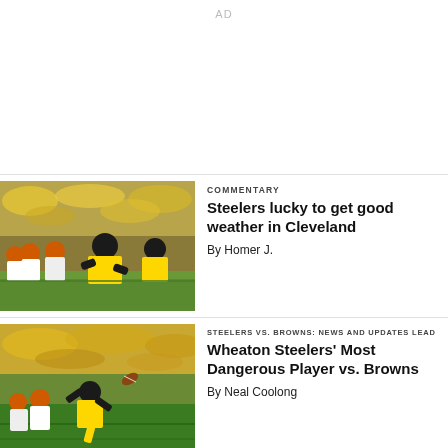AD
[Figure (photo): Football players at the line of scrimmage — Pittsburgh Steelers in black and yellow vs. Cleveland Browns in white and orange helmets, stadium crowd in background]
COMMENTARY
Steelers lucky to get good weather in Cleveland
By Homer J.
[Figure (photo): Pittsburgh Steelers player catching or throwing a football on the field against the Cleveland Browns, green field with packed stadium crowd]
STEELERS VS. BROWNS: NEWS AND UPDATES LEAD
Wheaton Steelers' Most Dangerous Player vs. Browns
By Neal Coolong